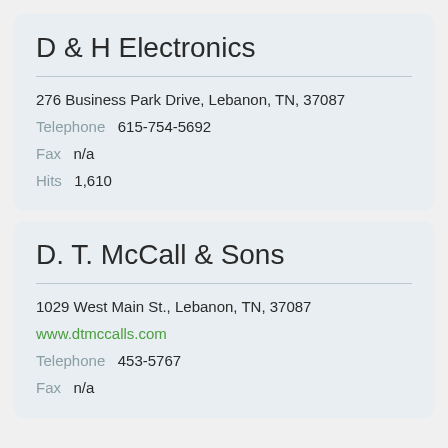D & H Electronics
276 Business Park Drive, Lebanon, TN, 37087
Telephone   615-754-5692
Fax   n/a
Hits   1,610
D. T. McCall & Sons
1029 West Main St., Lebanon, TN, 37087
www.dtmccalls.com
Telephone   453-5767
Fax   n/a